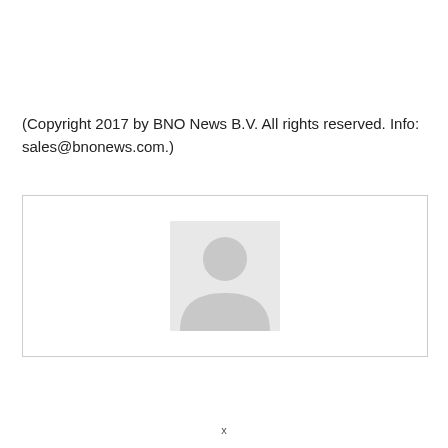(Copyright 2017 by BNO News B.V. All rights reserved. Info: sales@bnonews.com.)
[Figure (illustration): Generic user/person avatar placeholder image on white background with light border]
x